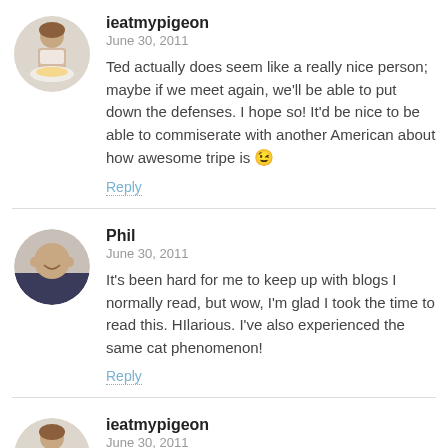[Figure (photo): Circular avatar of ieatmypigeon: woman eating food at a table]
ieatmypigeon
June 30, 2011
Ted actually does seem like a really nice person; maybe if we meet again, we'll be able to put down the defenses. I hope so! It'd be nice to be able to commiserate with another American about how awesome tripe is 😉
Reply
[Figure (photo): Circular avatar of Phil: bald man smiling]
Phil
June 30, 2011
It's been hard for me to keep up with blogs I normally read, but wow, I'm glad I took the time to read this. HIlarious. I've also experienced the same cat phenomenon!
Reply
[Figure (photo): Circular avatar of ieatmypigeon: woman eating food at a table]
ieatmypigeon
June 30, 2011
Ffft ffffft rrrrrrrowr! Thanks for your compliments